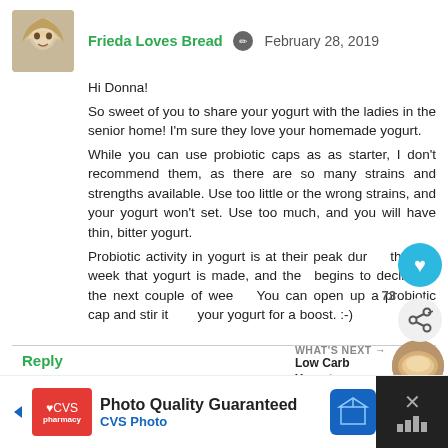[Figure (photo): Avatar photo of blog author Frieda - woman with light hair]
Frieda Loves Bread  February 28, 2019
Hi Donna!
So sweet of you to share your yogurt with the ladies in the senior home! I'm sure they love your homemade yogurt.
While you can use probiotic caps as as starter, I don't recommend them, as there are so many strains and strengths available. Use too little or the wrong strains, and your yogurt won't set. Use too much, and you will have thin, bitter yogurt.
Probiotic activity in yogurt is at their peak during the first week that yogurt is made, and then begins to decline of the next couple of weeks. You can open up a probiotic cap and stir it into your yogurt for a boost. :-)
Reply
WHAT'S NEXT → Low Carb Yogurt -...
[Figure (photo): Thumbnail of Low Carb Yogurt next article]
[Figure (screenshot): CVS Photo advertisement - Photo Quality Guaranteed]